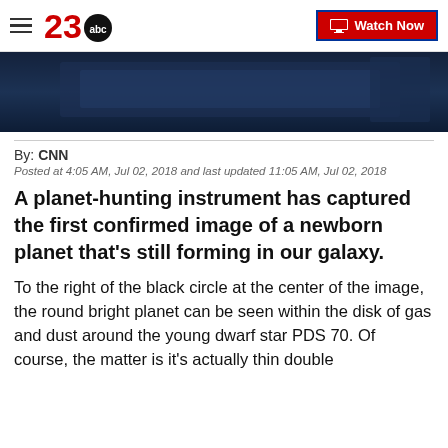23abc — Watch Now
[Figure (photo): Dark blue image showing a telescope or observatory-related scene]
By: CNN
Posted at 4:05 AM, Jul 02, 2018 and last updated 11:05 AM, Jul 02, 2018
A planet-hunting instrument has captured the first confirmed image of a newborn planet that's still forming in our galaxy.
To the right of the black circle at the center of the image, the round bright planet can be seen within the disk of gas and dust around the young dwarf star PDS 70. Of course, the matter is its actually thin double…